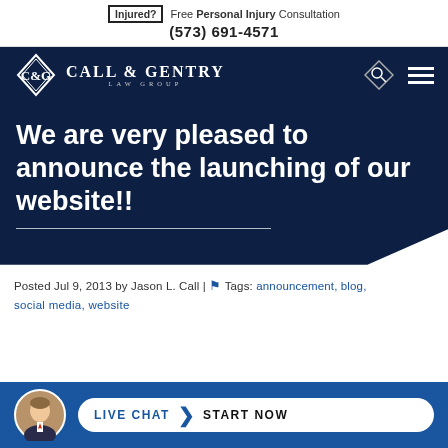Injured? Free Personal Injury Consultation (573) 691-4571
[Figure (logo): Call & Gentry Law Group logo with C&G emblem and navigation icons]
We are very pleased to announce the launching of our website!!
Posted Jul 9, 2013 by Jason L. Call | Tags: announcement, blog, social media, website
[Figure (infographic): Live Chat - Start Now button bar with attorney avatar photo]